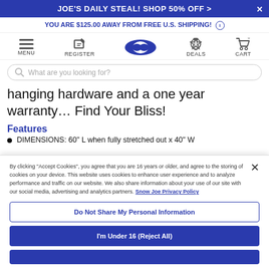JOE'S DAILY STEAL! SHOP 50% OFF >
YOU ARE $125.00 AWAY FROM FREE U.S. SHIPPING!
[Figure (screenshot): Navigation bar with MENU, REGISTER, logo (oval S), DEALS, CART icons]
What are you looking for?
hanging hardware and a one year warranty... Find Your Bliss!
Features
DIMENSIONS: 60" L when fully stretched out x 40" W
By clicking "Accept Cookies", you agree that you are 16 years or older, and agree to the storing of cookies on your device. This website uses cookies to enhance user experience and to analyze performance and traffic on our website. We also share information about your use of our site with our social media, advertising and analytics partners. Snow Joe Privacy Policy
Do Not Share My Personal Information
I'm Under 16 (Reject All)